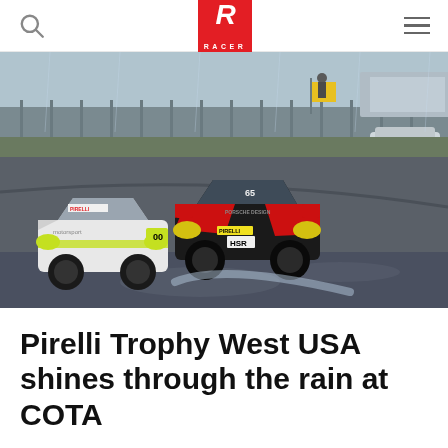RACER
[Figure (photo): Two Porsche racing cars on a wet track at COTA (Circuit of the Americas) during a rainy race. The lead car is black and red with yellow headlights and Pirelli branding, while the car behind is white with yellow-green accents and headlights. A yellow flag and fence are visible in the background.]
Pirelli Trophy West USA shines through the rain at COTA